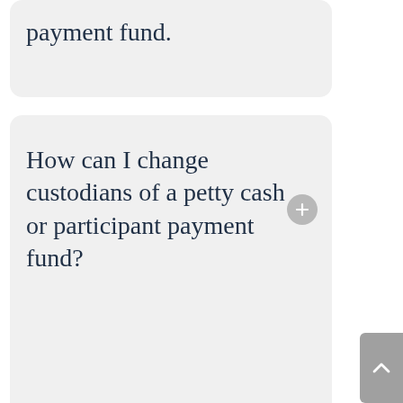payment fund.
How can I change custodians of a petty cash or participant payment fund?
My research study has surpassed the original project date. Am I required to close the participant payment